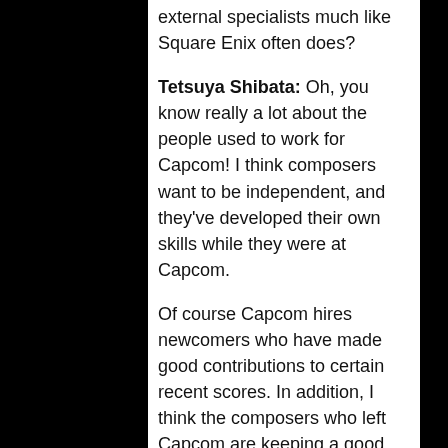external specialists much like Square Enix often does?
Tetsuya Shibata: Oh, you know really a lot about the people used to work for Capcom! I think composers want to be independent, and they've developed their own skills while they were at Capcom.
Of course Capcom hires newcomers who have made good contributions to certain recent scores. In addition, I think the composers who left Capcom are keeping a good relationship with the company. Of course Capcom outsources to former employees sometimes too.
Chris: Let's return back to your music production studio Unique Note. What led to